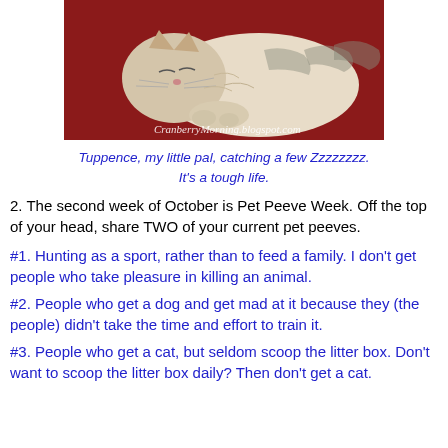[Figure (photo): A sleeping cat resting on a red background, with watermark text 'CranberryMorning.blogspot.com' at the bottom of the image.]
Tuppence, my little pal, catching a few Zzzzzzzz. It's a tough life.
2. The second week of October is Pet Peeve Week. Off the top of your head, share TWO of your current pet peeves.
#1. Hunting as a sport, rather than to feed a family. I don't get people who take pleasure in killing an animal.
#2. People who get a dog and get mad at it because they (the people) didn't take the time and effort to train it.
#3. People who get a cat, but seldom scoop the litter box. Don't want to scoop the litter box daily? Then don't get a cat.